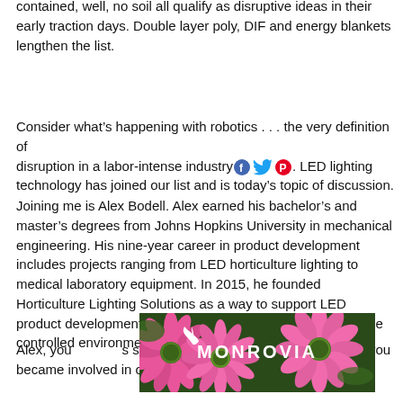contained, well, no soil all qualify as disruptive ideas in their early traction days. Double layer poly, DIF and energy blankets lengthen the list.
Consider what’s happening with robotics . . . the very definition of disruption in a labor-intense industry. LED lighting technology has joined our list and is today’s topic of discussion.
Joining me is Alex Bodell. Alex earned his bachelor’s and master’s degrees from Johns Hopkins University in mechanical engineering. His nine-year career in product development includes projects ranging from LED horticulture lighting to medical laboratory equipment. In 2015, he founded Horticulture Lighting Solutions as a way to support LED product development for companies interested in entering the controlled environment agriculture (CEA) market.
Alex, you have a career spanning nine years ... to hear about how you became involved in our industry to start our discussion.
[Figure (photo): Monrovia advertisement banner featuring pink echinacea flowers with the Monrovia logo and a leaf icon.]